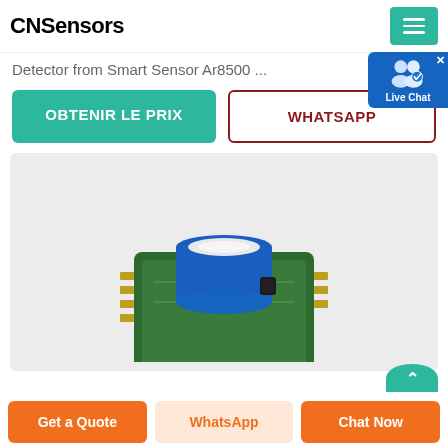CNSensors
Detector from Smart Sensor Ar8500 ...
OBTENIR LE PRIX
WHATSAPP
[Figure (photo): A green electronic circuit board with a cylindrical blue electrochemical gas sensor module mounted on top, with pin headers underneath.]
Get a Quote
WhatsApp
Chat Now